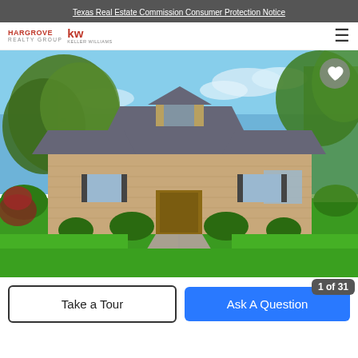Texas Real Estate Commission Consumer Protection Notice
[Figure (logo): Hargrove Realty Group and Keller Williams logos]
[Figure (photo): Exterior photo of a brick ranch-style house with large tree in front yard and lush green lawn with concrete walkway]
Take a Tour
Ask A Question
1 of 31